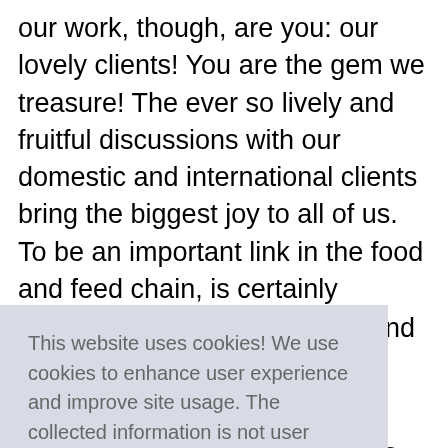our work, though, are you: our lovely clients! You are the gem we treasure! The ever so lively and fruitful discussions with our domestic and international clients bring the biggest joy to all of us. To be an important link in the food and feed chain, is certainly extremely rewarding.
This website uses cookies! We use cookies to enhance user experience and improve site usage. The collected information is not user sensitive and is used for analytics and marketing purposes only. Click Accept to consent to this collection or Reject to decline it. Learn more
down the right regulatory requirements. Therefore, we